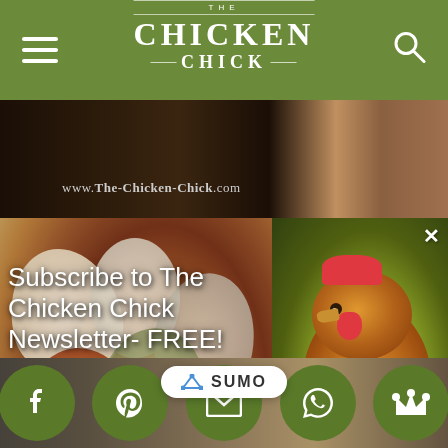THE CHICKEN CHICK
[Figure (screenshot): Background image strip showing wooden coop interior with The-Chicken-Chick.com watermark]
[Figure (photo): Colorful eggs (brown, white, blue-green) with subscription overlay text: Subscribe to The Chicken Chick Newsletter- FREE!]
Subscribe to The Chicken Chick Newsletter- FREE!
Be the first to get new articles & giveaways delivered directly to your inbox!
[Figure (photo): Close-up portrait of a golden/orange hen against green blurred background]
Email
Count me IN!
[Figure (logo): SUMO button with crown icon]
[Figure (screenshot): Bottom strip showing partial website content with social media icon buttons: Facebook, Pinterest, Email, WhatsApp, Crown/Sumo]